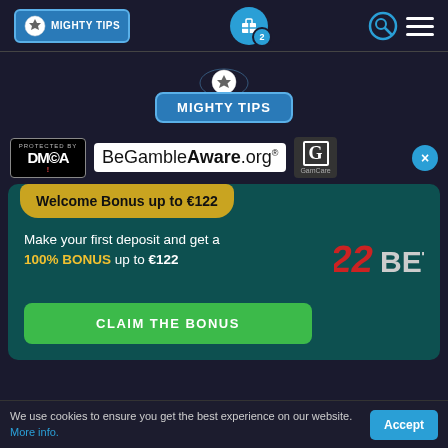[Figure (logo): Mighty Tips navigation logo with soccer ball icon in blue rounded rectangle, top-left nav bar]
[Figure (infographic): Gift icon in blue circle with badge showing '2', center of nav bar]
[Figure (infographic): Search icon (magnifying glass) and hamburger menu icon on right of nav bar]
[Figure (logo): Center Mighty Tips large logo with soccer ball above blue rounded rectangle with MIGHTY TIPS text]
[Figure (logo): DMCA Protected badge (black background, white text)]
[Figure (logo): BeGambleAware.org text logo with registered trademark]
[Figure (logo): GamCare G logo in dark box]
Welcome Bonus up to €122
Make your first deposit and get a 100% BONUS up to €122
[Figure (logo): 22BET logo in red/white stylized text]
CLAIM THE BONUS
We use cookies to ensure you get the best experience on our website. More info.
Accept